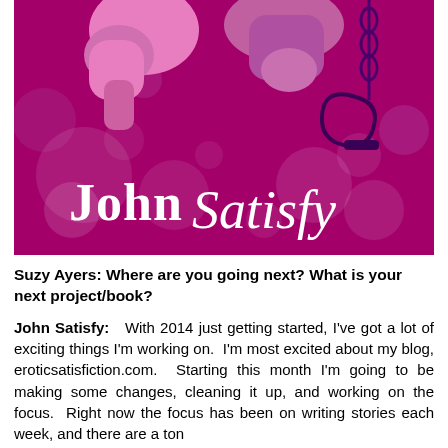[Figure (illustration): A banner/logo image with a magenta/purple background with decorative circles and dots. In the foreground are illustrated figures. Text reads 'John Satisfy' in a stylized font — 'John' in white serif and 'Satisfy' in white cursive/script. A dark purple handcuff shape appears on the right side.]
Suzy Ayers: Where are you going next? What is your next project/book?
John Satisfy:   With 2014 just getting started, I've got a lot of exciting things I'm working on.  I'm most excited about my blog, eroticsatisfiction.com.  Starting this month I'm going to be making some changes, cleaning it up, and working on the focus.  Right now the focus has been on writing stories each week, and there are a ton